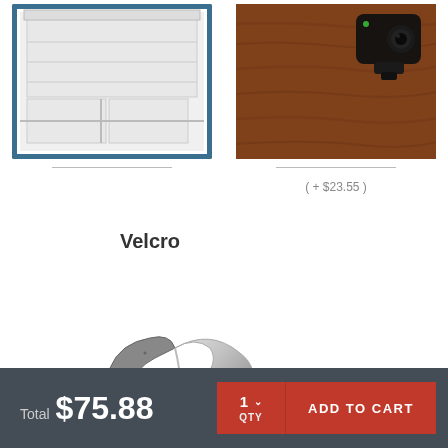[Figure (illustration): Window blind/shade product illustration with blue border frame, showing a white cellular shade in a window]
[Figure (photo): Camera or mounting device on a dark wood grain surface]
( + $23.55 )
Velcro
[Figure (illustration): Velcro product illustration showing a stylized X-shaped hook and loop fastener piece, metallic and textured]
Total $75.88
1 QTY
ADD TO CART